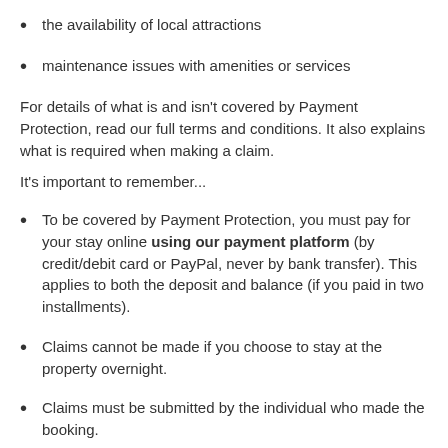the availability of local attractions
maintenance issues with amenities or services
For details of what is and isn't covered by Payment Protection, read our full terms and conditions. It also explains what is required when making a claim.
It's important to remember...
To be covered by Payment Protection, you must pay for your stay online using our payment platform (by credit/debit card or PayPal, never by bank transfer). This applies to both the deposit and balance (if you paid in two installments).
Claims cannot be made if you choose to stay at the property overnight.
Claims must be submitted by the individual who made the booking.
You are only eligible for cover if you book a rental with the